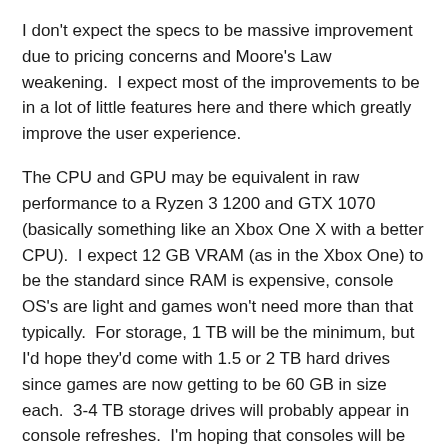I don't expect the specs to be massive improvement due to pricing concerns and Moore's Law weakening.  I expect most of the improvements to be in a lot of little features here and there which greatly improve the user experience.
The CPU and GPU may be equivalent in raw performance to a Ryzen 3 1200 and GTX 1070 (basically something like an Xbox One X with a better CPU).  I expect 12 GB VRAM (as in the Xbox One) to be the standard since RAM is expensive, console OS's are light and games won't need more than that typically.  For storage, 1 TB will be the minimum, but I'd hope they'd come with 1.5 or 2 TB hard drives since games are now getting to be 60 GB in size each.  3-4 TB storage drives will probably appear in console refreshes.  I'm hoping that consoles will be able to integrate a solid state drive in some way, even if it is just a very small 16 GB drive for the OS and